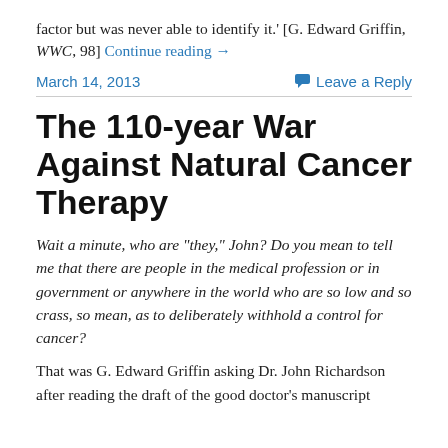factor but was never able to identify it.' [G. Edward Griffin, WWC, 98] Continue reading →
March 14, 2013
Leave a Reply
The 110-year War Against Natural Cancer Therapy
Wait a minute, who are “they,” John? Do you mean to tell me that there are people in the medical profession or in government or anywhere in the world who are so low and so crass, so mean, as to deliberately withhold a control for cancer?
That was G. Edward Griffin asking Dr. John Richardson after reading the draft of the good doctor’s manuscript